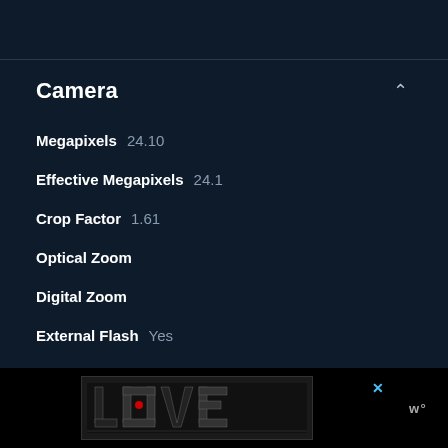Camera
Megapixels  24.10
Effective Megapixels  24.1
Crop Factor  1.61
Optical Zoom
Digital Zoom
External Flash  Yes
Macro Focus Range
[Figure (screenshot): Advertisement banner at the bottom showing 'LOVE' text in decorative lettering with a close button and a brand logo]